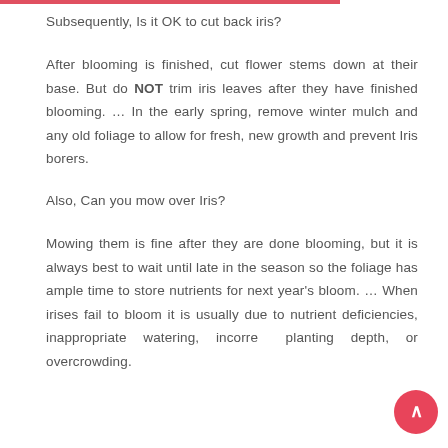Subsequently, Is it OK to cut back iris?
After blooming is finished, cut flower stems down at their base. But do NOT trim iris leaves after they have finished blooming. … In the early spring, remove winter mulch and any old foliage to allow for fresh, new growth and prevent Iris borers.
Also, Can you mow over Iris?
Mowing them is fine after they are done blooming, but it is always best to wait until late in the season so the foliage has ample time to store nutrients for next year's bloom. … When irises fail to bloom it is usually due to nutrient deficiencies, inappropriate watering, incorrect planting depth, or overcrowding.